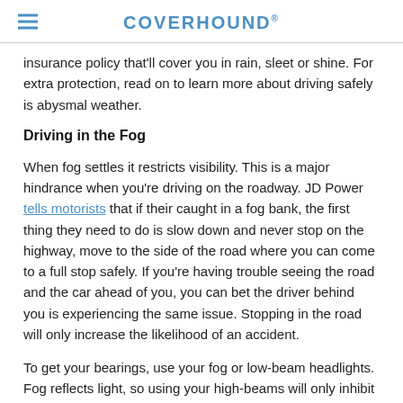COVERHOUND®
insurance policy that'll cover you in rain, sleet or shine. For extra protection, read on to learn more about driving safely is abysmal weather.
Driving in the Fog
When fog settles it restricts visibility. This is a major hindrance when you're driving on the roadway. JD Power tells motorists that if their caught in a fog bank, the first thing they need to do is slow down and never stop on the highway, move to the side of the road where you can come to a full stop safely. If you're having trouble seeing the road and the car ahead of you, you can bet the driver behind you is experiencing the same issue. Stopping in the road will only increase the likelihood of an accident.
To get your bearings, use your fog or low-beam headlights. Fog reflects light, so using your high-beams will only inhibit